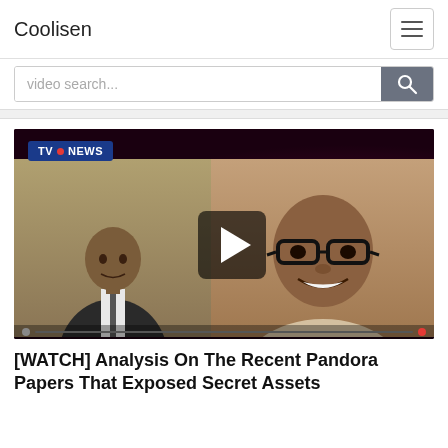Coolisen
[Figure (screenshot): Video thumbnail showing TVC NEWS broadcast with two men and a play button overlay]
[WATCH] Analysis On The Recent Pandora Papers That Exposed Secret Assets